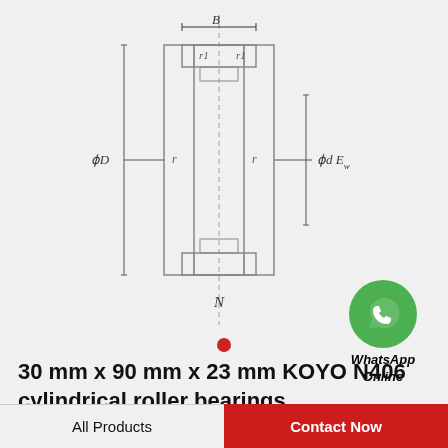[Figure (engineering-diagram): Cross-section schematic of a cylindrical roller bearing type N, showing dimensions: B (width), r1 (inner chamfer), r (outer chamfer), phi D (outer diameter), phi d (bore diameter), Ew (roller diameter). Labeled 'N' below the diagram.]
[Figure (logo): WhatsApp green phone icon with label 'WhatsApp Online']
30 mm x 90 mm x 23 mm KOYO N406 cylindrical roller bearings
All Products
Contact Now